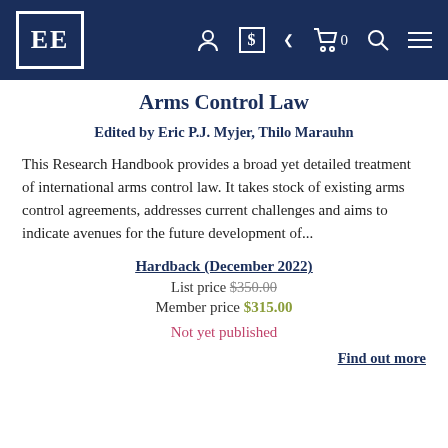EE [logo] navigation bar with account, currency, cart, search, and menu icons
Arms Control Law
Edited by Eric P.J. Myjer, Thilo Marauhn
This Research Handbook provides a broad yet detailed treatment of international arms control law. It takes stock of existing arms control agreements, addresses current challenges and aims to indicate avenues for the future development of...
Hardback (December 2022)
List price $350.00
Member price $315.00
Not yet published
Find out more